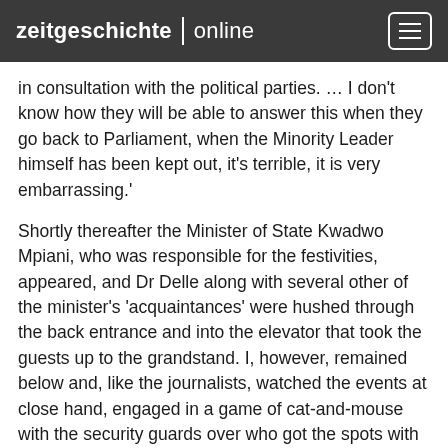zeitgeschichte | online
in consultation with the political parties. … I don't know how they will be able to answer this when they go back to Parliament, when the Minority Leader himself has been kept out, it's terrible, it is very embarrassing.'
Shortly thereafter the Minister of State Kwadwo Mpiani, who was responsible for the festivities, appeared, and Dr Delle along with several other of the minister's 'acquaintances' were hushed through the back entrance and into the elevator that took the guests up to the grandstand. I, however, remained below and, like the journalists, watched the events at close hand, engaged in a game of cat-and-mouse with the security guards over who got the spots with the best view as the Ghanaian Armed Forces, the police and the fire brigades, the cadet schools and many